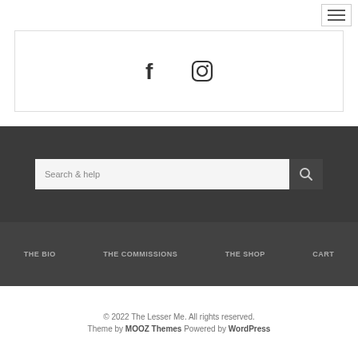[Figure (screenshot): Hamburger menu button (three horizontal lines) in top-right corner]
[Figure (infographic): Social media icons: Facebook (f) and Instagram (camera/circle) inside a bordered box]
[Figure (screenshot): Search bar with placeholder text 'Search & help' and a search button with magnifying glass icon, on dark background]
THE BIO   THE COMMISSIONS   THE SHOP   CART
© 2022 The Lesser Me. All rights reserved.
Theme by MOOZ Themes Powered by WordPress